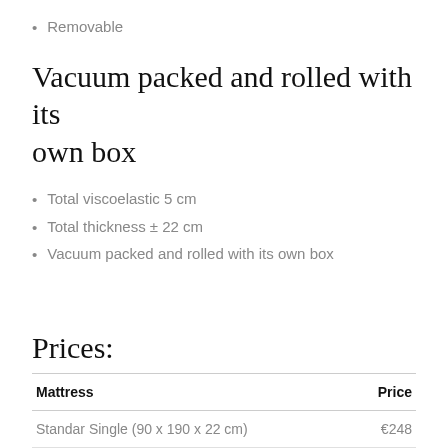Removable
Vacuum packed and rolled with its own box
Total viscoelastic 5 cm
Total thickness ± 22 cm
Vacuum packed and rolled with its own box
Prices:
| Mattress | Price |
| --- | --- |
| Standar Single (90 x 190 x 22 cm) | €248 |